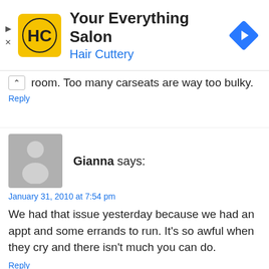[Figure (logo): Hair Cuttery ad banner with yellow HC logo, title 'Your Everything Salon', subtitle 'Hair Cuttery', and blue navigation diamond icon on the right]
room. Too many carseats are way too bulky.
Reply
[Figure (photo): Generic grey avatar silhouette for commenter Gianna]
Gianna says:
January 31, 2010 at 7:54 pm
We had that issue yesterday because we had an appt and some errands to run. It's so awful when they cry and there isn't much you can do.
Reply